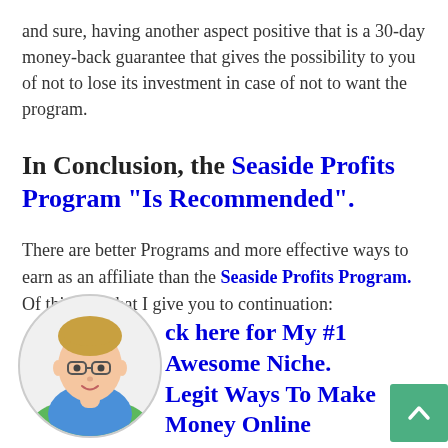and sure, having another aspect positive that is a 30-day money-back guarantee that gives the possibility to you of not to lose its investment in case of not to want the program.
In Conclusion, the Seaside Profits Program “Is Recommended”.
There are better Programs and more effective ways to earn as an affiliate than the Seaside Profits Program. Of this way that I give you to continuation:
[Figure (illustration): Circular avatar of a cartoon person with glasses and blue shirt, with a green background at the bottom.]
ck here for My #1 Awesome Niche. Legit Ways To Make Money Online